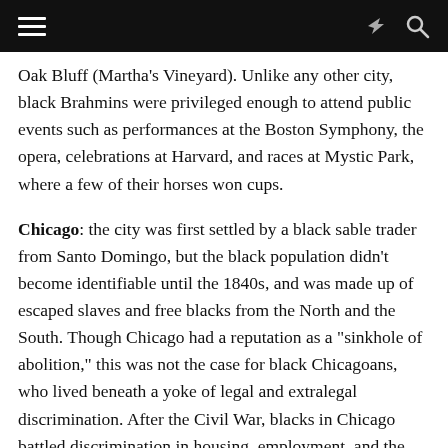[navigation bar with hamburger menu, share icon, and search icon]
Oak Bluff (Martha’s Vineyard). Unlike any other city, black Brahmins were privileged enough to attend public events such as performances at the Boston Symphony, the opera, celebrations at Harvard, and races at Mystic Park, where a few of their horses won cups.
Chicago: the city was first settled by a black sable trader from Santo Domingo, but the black population didn’t become identifiable until the 1840s, and was made up of escaped slaves and free blacks from the North and the South. Though Chicago had a reputation as a “sinkhole of abolition,” this was not the case for black Chicagoans, who lived beneath a yoke of legal and extralegal discrimination. After the Civil War, blacks in Chicago battled discrimination in housing, employment, and the